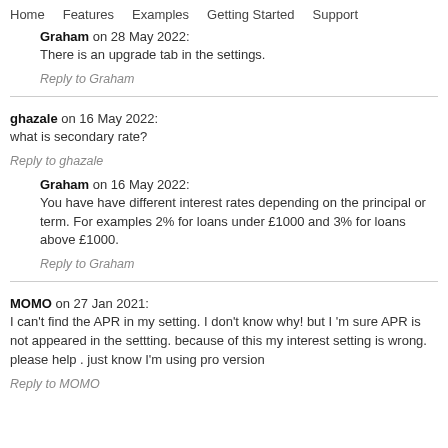Home   Features   Examples   Getting Started   Support
Graham on 28 May 2022:
There is an upgrade tab in the settings.
Reply to Graham
ghazale on 16 May 2022:
what is secondary rate?
Reply to ghazale
Graham on 16 May 2022:
You have have different interest rates depending on the principal or term. For examples 2% for loans under £1000 and 3% for loans above £1000.
Reply to Graham
MOMO on 27 Jan 2021:
I can't find the APR in my setting. I don't know why! but I 'm sure APR is not appeared in the settting. because of this my interest setting is wrong. please help . just know I'm using pro version
Reply to MOMO